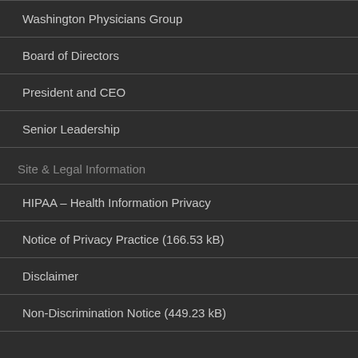Washington Physicians Group
Board of Directors
President and CEO
Senior Leadership
Site & Legal Information
HIPAA – Health Information Privacy
Notice of Privacy Practice (166.53 kB)
Disclaimer
Non-Discrimination Notice (449.23 kB)